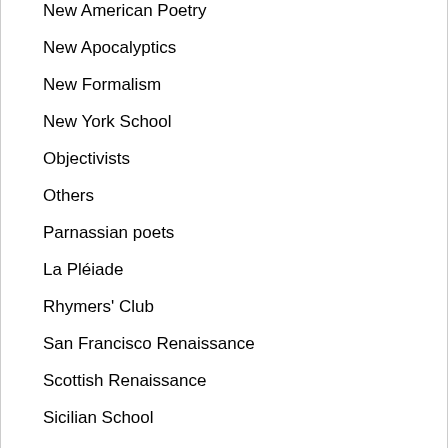New American Poetry
New Apocalyptics
New Formalism
New York School
Objectivists
Others
Parnassian poets
La Pléiade
Rhymers' Club
San Francisco Renaissance
Scottish Renaissance
Sicilian School
Sons of Ben
Southern Agrarians
Spasmodic poets
Sung poetry
Surrealism
Symbolism